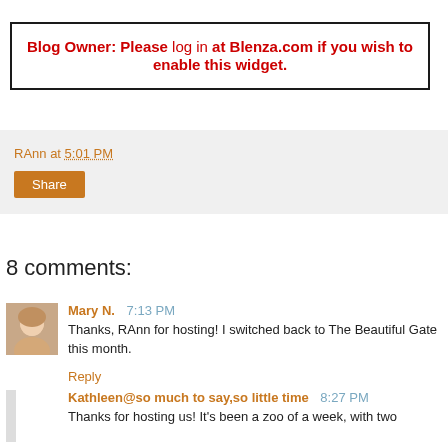Blog Owner: Please log in at Blenza.com if you wish to enable this widget.
RAnn at 5:01 PM
Share
8 comments:
Mary N.  7:13 PM
Thanks, RAnn for hosting! I switched back to The Beautiful Gate this month.
Reply
Kathleen@so much to say,so little time  8:27 PM
Thanks for hosting us! It's been a zoo of a week, with two